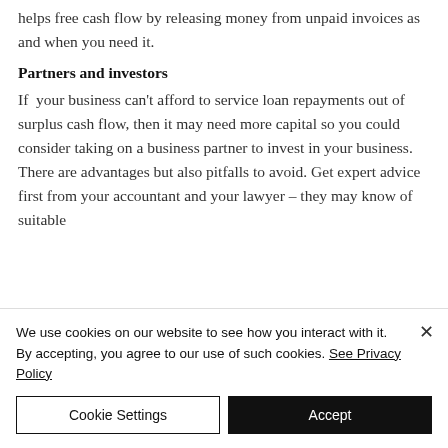helps free cash flow by releasing money from unpaid invoices as and when you need it.
Partners and investors
If  your business can't afford to service loan repayments out of surplus cash flow, then it may need more capital so you could consider taking on a business partner to invest in your business. There are advantages but also pitfalls to avoid. Get expert advice first from your accountant and your lawyer – they may know of suitable
We use cookies on our website to see how you interact with it. By accepting, you agree to our use of such cookies. See Privacy Policy
Cookie Settings
Accept